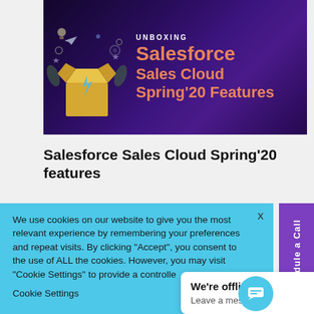[Figure (screenshot): Banner image with dark purple background showing an unboxing illustration with a cardboard box emitting a lightning bolt and icons, beside bold text reading UNBOXING Salesforce Sales Cloud Spring'20 Features in white and orange-pink]
Salesforce Sales Cloud Spring'20 features
[Figure (screenshot): Cookie consent banner in light blue with text: We use cookies on our website to give you the most relevant experience by remembering your preferences and repeat visits. By clicking Accept, you consent to the use of ALL the cookies. However, you may visit Cookie Settings to provide a controlled consent. Cookie Settings button visible at bottom.]
[Figure (screenshot): Chat widget showing We're offline / Leave a message popup with blue chat bubble icon]